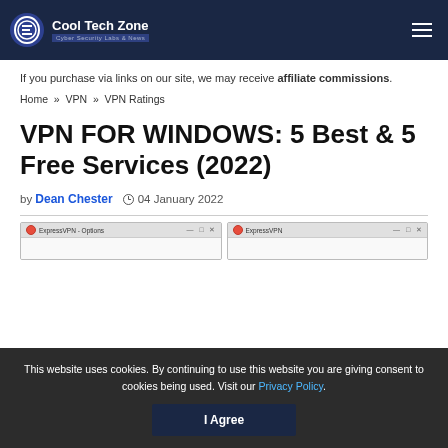Cool Tech Zone — Cyber Security Labs & News
If you purchase via links on our site, we may receive affiliate commissions.
Home » VPN » VPN Ratings
VPN FOR WINDOWS: 5 Best & 5 Free Services (2022)
by Dean Chester  04 January 2022
[Figure (screenshot): Two ExpressVPN Windows app screenshots side by side showing the application window and options dialog]
This website uses cookies. By continuing to use this website you are giving consent to cookies being used. Visit our Privacy Policy.